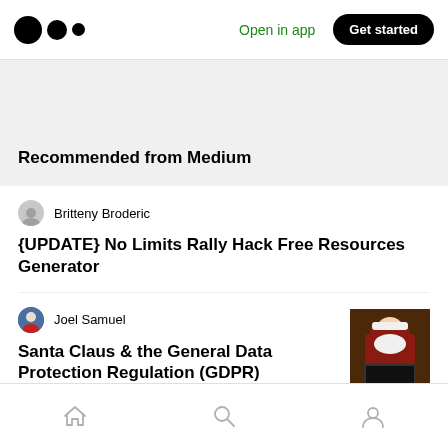Medium — Open in app | Get started
Recommended from Medium
Britteny Broderic
{UPDATE} No Limits Rally Hack Free Resources Generator
Joel Samuel
Santa Claus & the General Data Protection Regulation (GDPR)
Home | Search | Profile